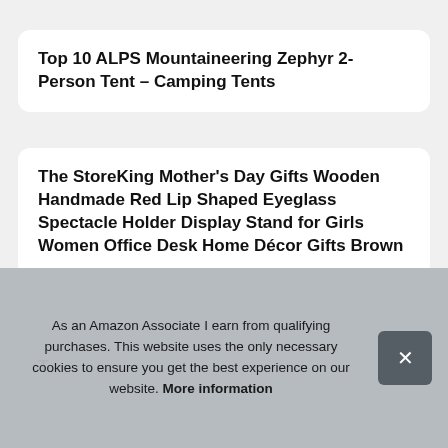Top 10 ALPS Mountaineering Zephyr 2-Person Tent – Camping Tents
The StoreKing Mother's Day Gifts Wooden Handmade Red Lip Shaped Eyeglass Spectacle Holder Display Stand for Girls Women Office Desk Home Décor Gifts Brown
T
As an Amazon Associate I earn from qualifying purchases. This website uses the only necessary cookies to ensure you get the best experience on our website. More information